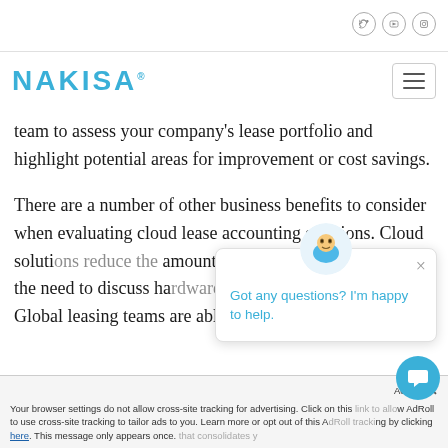Nakisa website header with social icons and hamburger menu
team to assess your company's lease portfolio and highlight potential areas for improvement or cost savings.
There are a number of other business benefits to consider when evaluating cloud lease accounting solutions. Cloud soluti[ons reduce the] amount of time requir[ed...] the need to discuss ha[rdware...] software capability. Global leasing teams are able to [...]  that consolidates [your...]
Got any questions? I'm happy to help.
Your browser settings do not allow cross-site tracking for advertising. Click on this [link to allow] AdRoll to use cross-site tracking to tailor ads to you. Learn more or opt out of this A[dRoll tracking] by clicking here. This message only appears once.